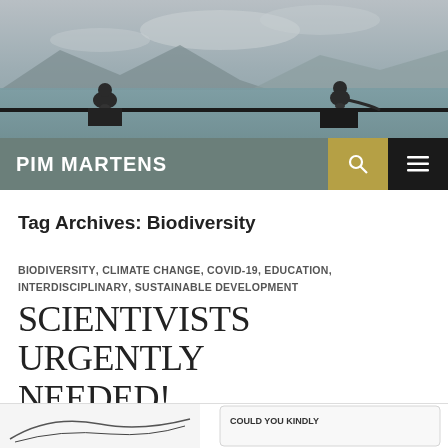[Figure (photo): Header photo showing two monkeys silhouetted on a railing against a misty mountain and lake background]
PIM MARTENS
Tag Archives: Biodiversity
BIODIVERSITY, CLIMATE CHANGE, COVID-19, EDUCATION, INTERDISCIPLINARY, SUSTAINABLE DEVELOPMENT
SCIENTIVISTS URGENTLY NEEDED!
JULY 13, 2020   LEAVE A COMMENT
[Figure (illustration): Partial cartoon strip visible at the bottom of the page, showing an illustration with text 'COULD YOU KINDLY']